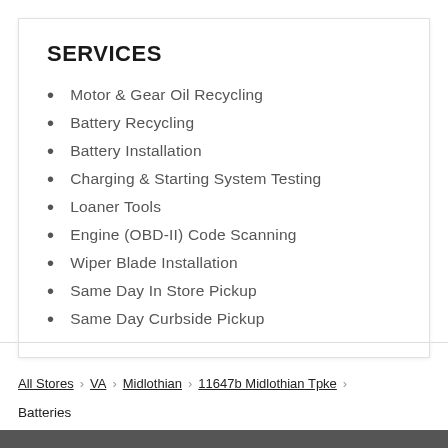SERVICES
Motor & Gear Oil Recycling
Battery Recycling
Battery Installation
Charging & Starting System Testing
Loaner Tools
Engine (OBD-II) Code Scanning
Wiper Blade Installation
Same Day In Store Pickup
Same Day Curbside Pickup
All Stores › VA › Midlothian › 11647b Midlothian Tpke
Batteries